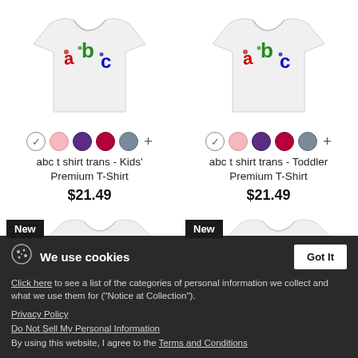[Figure (photo): White kids t-shirt with abc logo in red, green, blue letters]
abc t shirt trans - Kids' Premium T-Shirt
$21.49
[Figure (photo): White toddler t-shirt with abc logo in red, green, blue letters]
abc t shirt trans - Toddler Premium T-Shirt
$21.49
[Figure (photo): New badge with white t-shirt thumbnail]
[Figure (photo): New badge with white t-shirt thumbnail]
We use cookies
Click here to see a list of the categories of personal information we collect and what we use them for ("Notice at Collection").
Privacy Policy
Do Not Sell My Personal Information
By using this website, I agree to the Terms and Conditions